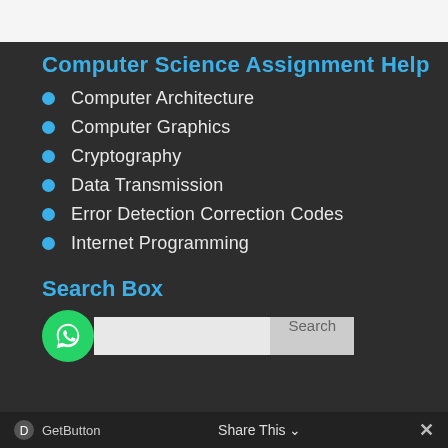Computer Science Assignment Help
Computer Architecture
Computer Graphics
Cryptography
Data Transmission
Error Detection Correction Codes
Internet Programming
Search Box
[Figure (other): Search box with WhatsApp button icon on the left, text input field, and Search button]
GetButton   Share This ∨   ✕